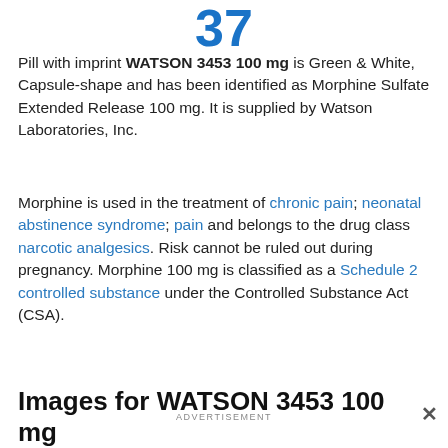37
Pill with imprint WATSON 3453 100 mg is Green & White, Capsule-shape and has been identified as Morphine Sulfate Extended Release 100 mg. It is supplied by Watson Laboratories, Inc.
Morphine is used in the treatment of chronic pain; neonatal abstinence syndrome; pain and belongs to the drug class narcotic analgesics. Risk cannot be ruled out during pregnancy. Morphine 100 mg is classified as a Schedule 2 controlled substance under the Controlled Substance Act (CSA).
Images for WATSON 3453 100 mg
ADVERTISEMENT